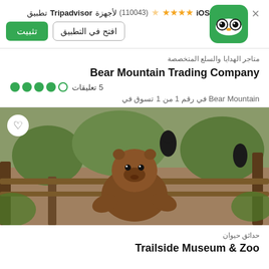[Figure (screenshot): Tripadvisor app banner for iOS with stars rating (110043 reviews), install and open buttons, and Tripadvisor owl logo]
تطبيق Tripadvisor لأجهزة (110043) ★★★★☆ iOS
تثبيت | افتح في التطبيق
متاجر الهدايا والسلع المتخصصة
Bear Mountain Trading Company
5 تعليقات ○●●●●
رقم 1 من 1 تسوق في Bear Mountain
[Figure (photo): Photo of a brown bear sitting upright at Bear Mountain, with black birds in the background and wooden fence structures]
حدائق حيوان
Trailside Museum & Zoo